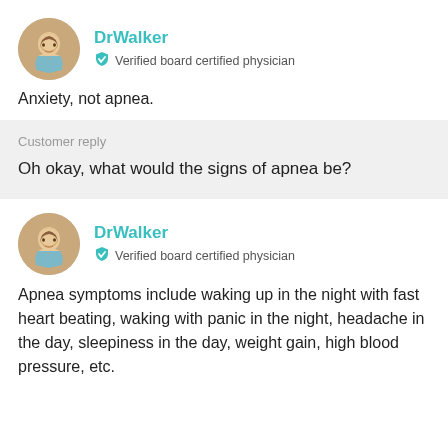[Figure (illustration): Circular avatar of DrWalker, a man with beard and brown hair, smiling]
DrWalker
Verified board certified physician
Anxiety, not apnea.
Customer reply
Oh okay, what would the signs of apnea be?
[Figure (illustration): Circular avatar of DrWalker, a man with beard and brown hair, smiling]
DrWalker
Verified board certified physician
Apnea symptoms include waking up in the night with fast heart beating, waking with panic in the night, headache in the day, sleepiness in the day, weight gain, high blood pressure, etc.